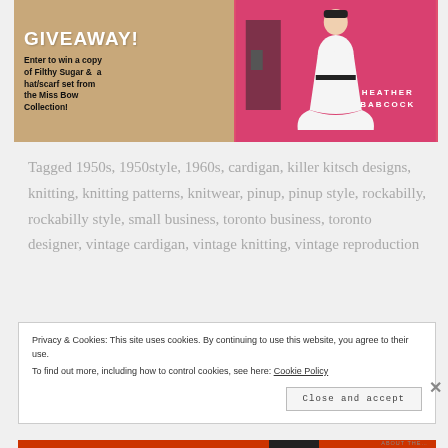[Figure (illustration): Giveaway promotional banner with tan/burlap background on the left showing 'GIVEAWAY!' text and entry instructions for winning a copy of Filthy Sugar and a hat/scarf set from the Miss Bow Collection, and a pink/rose background on the right showing a stylized illustration of a woman in a white dress against a pink background with 'HEATHER BABCOCK' author name]
Tagged 1950s, 1950style, 1960s, cardigan, killer kitsch designs, knitting, knitting patterns, knitwear, pinup, pinup style, rockabilly, rockabilly style, small business, toronto business, toronto designer, vintage cardigan, vintage knitting, vintage reproduction
Privacy & Cookies: This site uses cookies. By continuing to use this website, you agree to their use. To find out more, including how to control cookies, see here: Cookie Policy